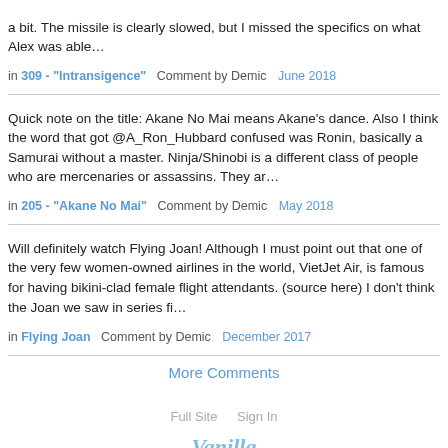a bit. The missile is clearly slowed, but I missed the specifics on what Alex was able…
in 309 - "Intransigence"   Comment by Demic   June 2018
Quick note on the title: Akane No Mai means Akane's dance. Also I think the word that got @A_Ron_Hubbard confused was Ronin, basically a Samurai without a master. Ninja/Shinobi is a different class of people who are mercenaries or assassins. They ar…
in 205 - "Akane No Mai"   Comment by Demic   May 2018
Will definitely watch Flying Joan! Although I must point out that one of the very few women-owned airlines in the world, VietJet Air, is famous for having bikini-clad female flight attendants. (source here) I don't think the Joan we saw in series fi…
in Flying Joan   Comment by Demic   December 2017
More Comments
Full Site   Sign In